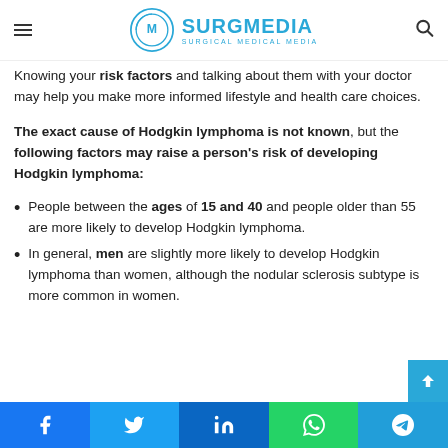SurgMedia - Surgical Medical Media
Knowing your risk factors and talking about them with your doctor may help you make more informed lifestyle and health care choices.
The exact cause of Hodgkin lymphoma is not known, but the following factors may raise a person's risk of developing Hodgkin lymphoma:
People between the ages of 15 and 40 and people older than 55 are more likely to develop Hodgkin lymphoma.
In general, men are slightly more likely to develop Hodgkin lymphoma than women, although the nodular sclerosis subtype is more common in women.
Facebook Twitter LinkedIn WhatsApp Telegram